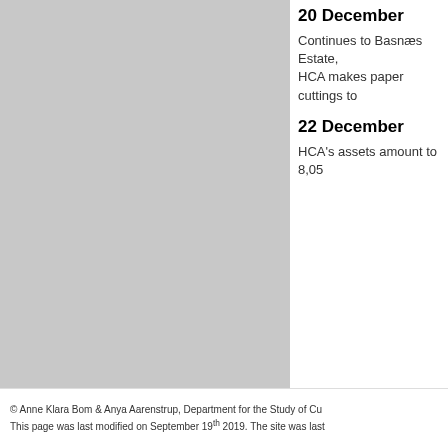20 December
Continues to Basnæs Estate, HCA makes paper cuttings to
22 December
HCA's assets amount to 8,05
1st quarter  2nd quarter  3rd q
1854  55  56  57  58  Index
Search the timetable
© Anne Klara Bom & Anya Aarenstrup, Department for the Study of Cu
This page was last modified on September 19th 2019. The site was last